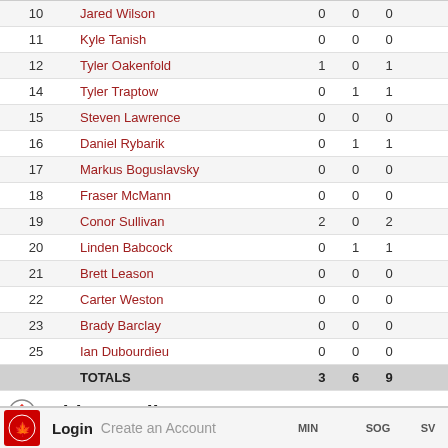| # | NAME |  |  |  |
| --- | --- | --- | --- | --- |
| 10 | Jared Wilson | 0 | 0 | 0 |
| 11 | Kyle Tanish | 0 | 0 | 0 |
| 12 | Tyler Oakenfold | 1 | 0 | 1 |
| 14 | Tyler Traptow | 0 | 1 | 1 |
| 15 | Steven Lawrence | 0 | 0 | 0 |
| 16 | Daniel Rybarik | 0 | 1 | 1 |
| 17 | Markus Boguslavsky | 0 | 0 | 0 |
| 18 | Fraser McMann | 0 | 0 | 0 |
| 19 | Conor Sullivan | 2 | 0 | 2 |
| 20 | Linden Babcock | 0 | 1 | 1 |
| 21 | Brett Leason | 0 | 0 | 0 |
| 22 | Carter Weston | 0 | 0 | 0 |
| 23 | Brady Barclay | 0 | 0 | 0 |
| 25 | Ian Dubourdieu | 0 | 0 | 0 |
|  | TOTALS | 3 | 6 | 9 |
White Goalies
| # | NAME | MIN | SOG | SV |
| --- | --- | --- | --- | --- |
| 1 | Amanda Leveille | 29:41 | 21 | 20 |
| 1 | Elaine Chuli | 29:04 | 13 | 11 |
|  | TOTALS | 60:00 | 34 | 31 |
Calgary Flames Goalies
| # | NAME | MIN | SOG | SV |
| --- | --- | --- | --- | --- |